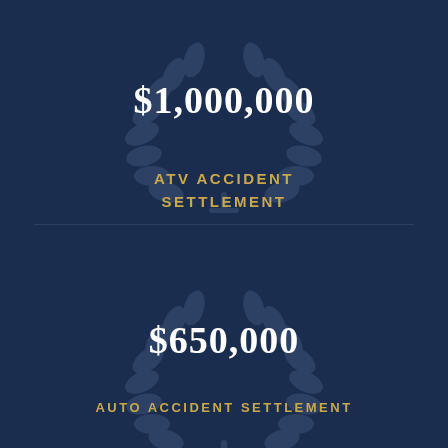[Figure (illustration): Decorative laurel wreath watermark behind top settlement amount]
$1,000,000
ATV ACCIDENT SETTLEMENT
[Figure (illustration): Decorative laurel wreath watermark behind bottom settlement amount]
$650,000
AUTO ACCIDENT SETTLEMENT